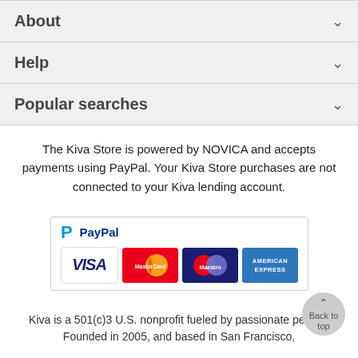About
Help
Popular searches
The Kiva Store is powered by NOVICA and accepts payments using PayPal. Your Kiva Store purchases are not connected to your Kiva lending account.
[Figure (logo): PayPal accepted payments logo showing PayPal, VISA, MasterCard, Maestro, and American Express card logos]
Kiva is a 501(c)3 U.S. nonprofit fueled by passionate people. Founded in 2005, and based in San Francisco,